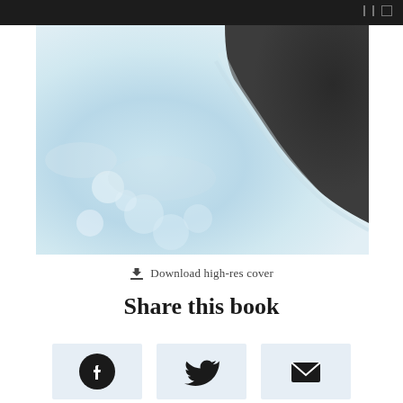[Figure (photo): Book cover photo showing white foamy water and dark rock/wave, cropped aerial view]
⬇ Download high-res cover
Share this book
[Figure (infographic): Three social share buttons: Facebook, Twitter, and Email icons on light blue backgrounds]